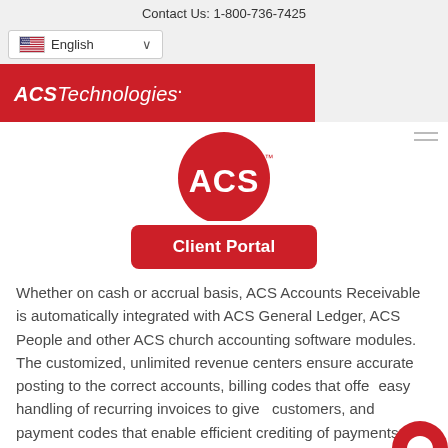Contact Us: 1-800-736-7425
[Figure (screenshot): Language selector dropdown showing US flag and 'English' with chevron, and ACS Technologies red logo bar below]
[Figure (logo): ACS Technologies circular logo in red with 'ACS' text and TM mark]
[Figure (other): Client Portal red button]
Whether on cash or accrual basis, ACS Accounts Receivable is automatically integrated with ACS General Ledger, ACS People and other ACS church accounting software modules. The customized, unlimited revenue centers ensure accurate posting to the correct accounts, billing codes that offer easy handling of recurring invoices to given customers, and payment codes that enable efficient crediting of payments for multiple